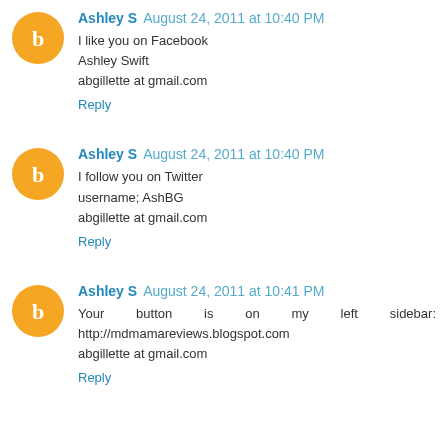Ashley S August 24, 2011 at 10:40 PM
I like you on Facebook
Ashley Swift
abgillette at gmail.com
Reply
Ashley S August 24, 2011 at 10:40 PM
I follow you on Twitter
username; AshBG
abgillette at gmail.com
Reply
Ashley S August 24, 2011 at 10:41 PM
Your button is on my left sidebar: http://mdmamareviews.blogspot.com
abgillette at gmail.com
Reply